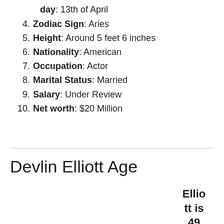day: 13th of April
4. Zodiac Sign: Aries
5. Height: Around 5 feet 6 inches
6. Nationality: American
7. Occupation: Actor
8. Marital Status: Married
9. Salary: Under Review
10. Net worth: $20 Million
Devlin Elliott Age
Elliott is 49